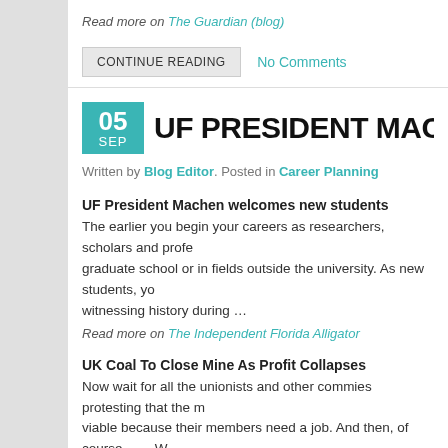Read more on The Guardian (blog)
CONTINUE READING   No Comments
05 SEP  UF PRESIDENT MACHEN WELCOME
Written by Blog Editor. Posted in Career Planning
UF President Machen welcomes new students
The earlier you begin your careers as researchers, scholars and profe... graduate school or in fields outside the university. As new students, yo... witnessing history during …
Read more on The Independent Florida Alligator
UK Coal To Close Mine As Profit Collapses
Now wait for all the unionists and other commies protesting that the m... viable because their members need a job. And then, of course, ….. W... (non academic …
Read more on Yahoo! News UK